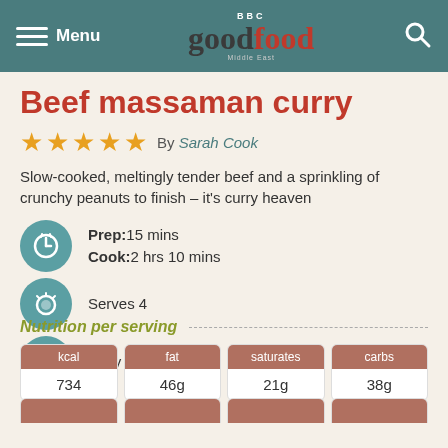BBC Good Food Middle East — Menu / Search
Beef massaman curry
★★★★★ By Sarah Cook
Slow-cooked, meltingly tender beef and a sprinkling of crunchy peanuts to finish – it's curry heaven
Prep: 15 mins
Cook: 2 hrs 10 mins
Serves 4
Easy
Nutrition per serving
| kcal | fat | saturates | carbs |
| --- | --- | --- | --- |
| 734 | 46g | 21g | 38g |